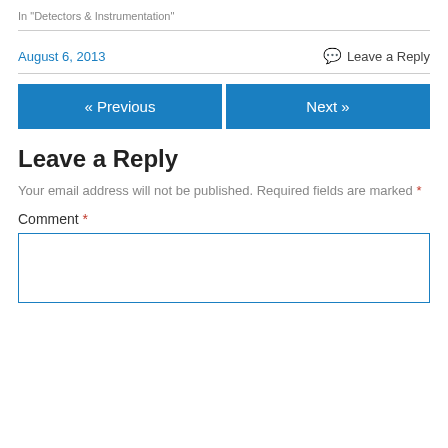In "Detectors & Instrumentation"
August 6, 2013
Leave a Reply
« Previous
Next »
Leave a Reply
Your email address will not be published. Required fields are marked *
Comment *